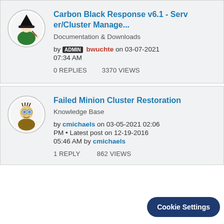Carbon Black Response v6.1 - Server/Cluster Manage...
Documentation & Downloads
by ADMIN bwuchte on 03-07-2021 07:34 AM
0 REPLIES   3370 VIEWS
Failed Minion Cluster Restoration
Knowledge Base
by cmichaels on 03-05-2021 02:06 PM • Latest post on 12-19-2016 05:46 AM by cmichaels
1 REPLY   862 VIEWS
Cookie Settings